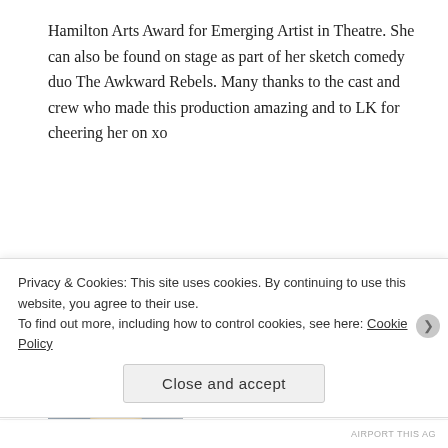Hamilton Arts Award for Emerging Artist in Theatre. She can also be found on stage as part of her sketch comedy duo The Awkward Rebels. Many thanks to the cast and crew who made this production amazing and to LK for cheering her on xo
[Figure (photo): Headshot photo of Michael Kras, a young man, shown from shoulders up against a stone/grey background]
Michael Kras (TYLER): Michael is a Hamiltonian theatre-maker and theatre-doer. He was last seen with Same Boat Theatre in
Privacy & Cookies: This site uses cookies. By continuing to use this website, you agree to their use.
To find out more, including how to control cookies, see here: Cookie Policy
Close and accept
AIRPORT THIS AG